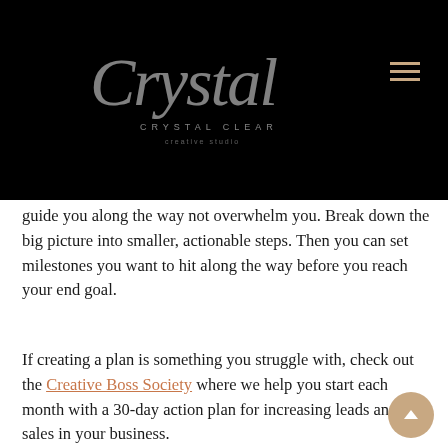[Figure (logo): Crystal Clear creative studio logo with script font on black background, with hamburger menu icon in gold/tan color on the right]
guide you along the way not overwhelm you. Break down the big picture into smaller, actionable steps. Then you can set milestones you want to hit along the way before you reach your end goal.
If creating a plan is something you struggle with, check out the Creative Boss Society where we help you start each month with a 30-day action plan for increasing leads and sales in your business.